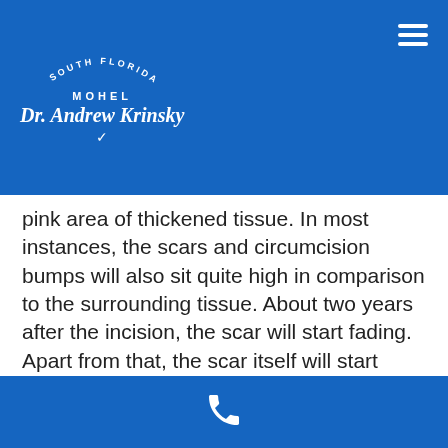South Florida Mohel - Dr. Andrew Krinsky
pink area of thickened tissue. In most instances, the scars and circumcision bumps will also sit quite high in comparison to the surrounding tissue. About two years after the incision, the scar will start fading. Apart from that, the scar itself will start shrinking and fading. However, without treatment, it's unlikely that the scar will just go away on its own. There are several factors that influence the development of bumps on circumcision scar line.
This website uses cookies to improve your experience. We'll assume you're ok with this, but you can opt-out if you wish.
Phone contact